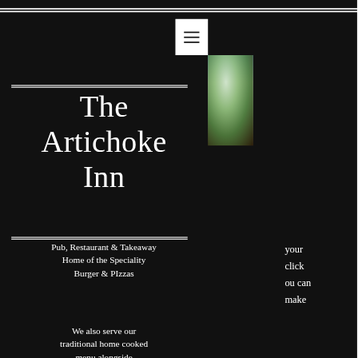[Figure (screenshot): Navigation menu button (hamburger icon) on white background]
[Figure (photo): Food photo showing a dish, vertically oriented on the right side]
The Artichoke Inn
Pub, Restaurant & Takeaway
Home of the Speciality
Burger & PIzzas
We also serve our traditional home cooked menu alongside
your
click
ou can
make
men.
From 11am-3pm we serve your favorite Sunday roast